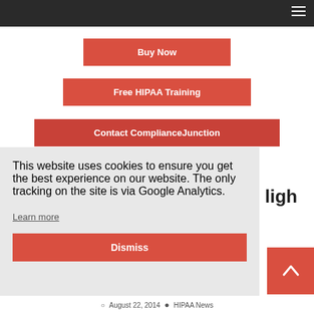Buy Now
Free HIPAA Training
Contact ComplianceJunction
This website uses cookies to ensure you get the best experience on our website. The only tracking on the site is via Google Analytics.
Learn more
Dismiss
August 22, 2014  HIPAA News